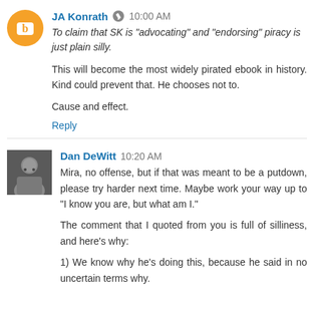JA Konrath  10:00 AM
To claim that SK is "advocating" and "endorsing" piracy is just plain silly.
This will become the most widely pirated ebook in history. Kind could prevent that. He chooses not to.
Cause and effect.
Reply
Dan DeWitt  10:20 AM
Mira, no offense, but if that was meant to be a putdown, please try harder next time. Maybe work your way up to "I know you are, but what am I."
The comment that I quoted from you is full of silliness, and here's why:
1) We know why he's doing this, because he said in no uncertain terms why.